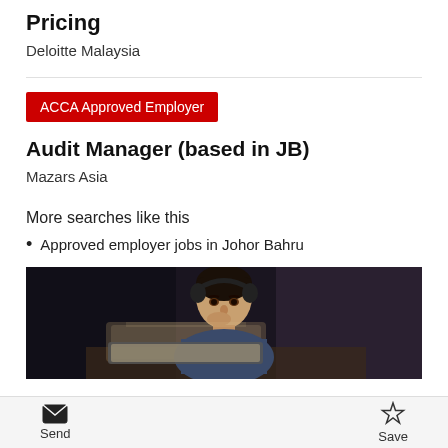Pricing
Deloitte Malaysia
ACCA Approved Employer
Audit Manager (based in JB)
Mazars Asia
More searches like this
Approved employer jobs in Johor Bahru
[Figure (photo): Person wearing headphones working at a laptop in a dark environment]
Send   Save